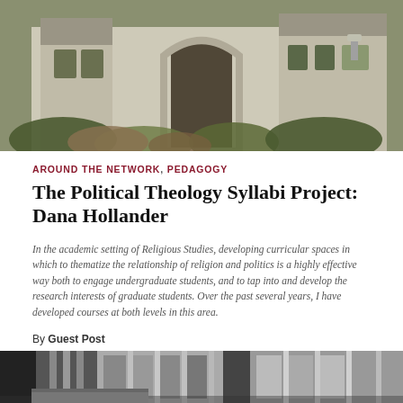[Figure (photo): Exterior photograph of a stone Gothic-style academic building with ivy growing on the facade and an arched entrance]
AROUND THE NETWORK, PEDAGOGY
The Political Theology Syllabi Project: Dana Hollander
In the academic setting of Religious Studies, developing curricular spaces in which to thematize the relationship of religion and politics is a highly effective way both to engage undergraduate students, and to tap into and develop the research interests of graduate students. Over the past several years, I have developed courses at both levels in this area.
By Guest Post
April 24, 2014
[Figure (photo): Exterior photograph of a modern building with vertical columns and windows, shown in black and white tones]